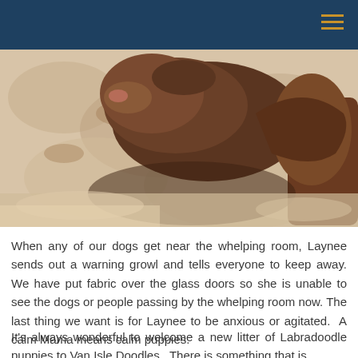[Figure (photo): Close-up photo of newborn puppies lying on a fluffy blanket or towel. The puppies appear to be Labradoodle puppies, brown/chocolate colored, with one puppy visible in the foreground nuzzling into the soft fabric.]
When any of our dogs get near the whelping room, Laynee sends out a warning growl and tells everyone to keep away. We have put fabric over the glass doors so she is unable to see the dogs or people passing by the whelping room now. The last thing we want is for Laynee to be anxious or agitated.  A calm Mama means calm puppies.
It's always wonderful to welcome a new litter of Labradoodle puppies to Van Isle Doodles.  There is something that is